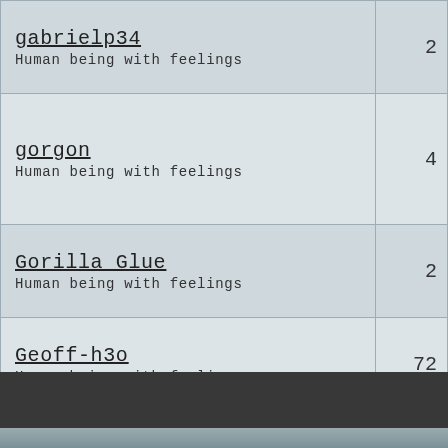| Username / Description | Count |
| --- | --- |
| gabrielp34
Human being with feelings | 2 |
| gorgon
Human being with feelings | 4 |
| Gorilla Glue
Human being with feelings | 2 |
| Geoff-h3o
Human being with feelings | 72 |
| Grendel
Human being with feelings | 18 |
| gastaxxx
Human being with feelings | 2 |